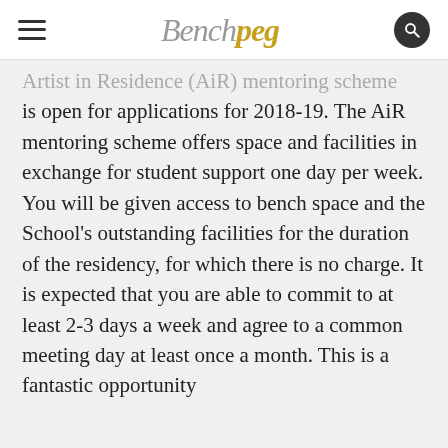Benchpeg
Artist in Residence (AiR) mentoring scheme is open for applications for 2018-19. The AiR mentoring scheme offers space and facilities in exchange for student support one day per week. You will be given access to bench space and the School's outstanding facilities for the duration of the residency, for which there is no charge. It is expected that you are able to commit to at least 2-3 days a week and agree to a common meeting day at least once a month. This is a fantastic opportunity